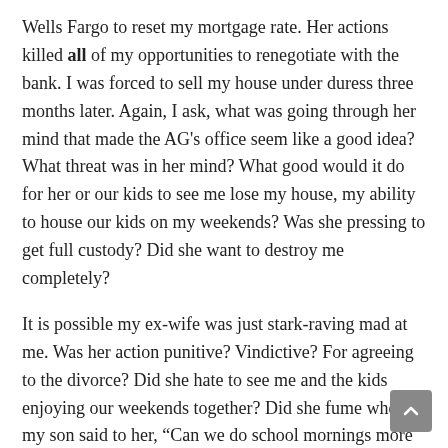Wells Fargo to reset my mortgage rate. Her actions killed all of my opportunities to renegotiate with the bank. I was forced to sell my house under duress three months later. Again, I ask, what was going through her mind that made the AG's office seem like a good idea? What threat was in her mind? What good would it do for her or our kids to see me lose my house, my ability to house our kids on my weekends? Was she pressing to get full custody? Did she want to destroy me completely?
It is possible my ex-wife was just stark-raving mad at me. Was her action punitive? Vindictive? For agreeing to the divorce? Did she hate to see me and the kids enjoying our weekends together? Did she fume when my son said to her, “Can we do school mornings more like dad does it? He gets up before us and gets stuff ready so we’re not always in a rush. We’re never late when we’re at dad’s house.” [This is a paraphrase of a conversation with my son at breakfast before school.]